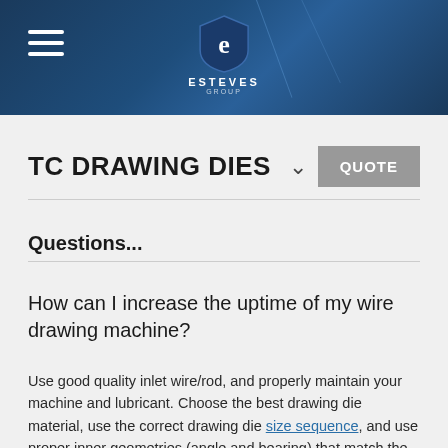ESTEVES GROUP — TC Drawing Dies
TC DRAWING DIES
Questions...
How can I increase the uptime of my wire drawing machine?
Use good quality inlet wire/rod, and properly maintain your machine and lubricant. Choose the best drawing die material, use the correct drawing die size sequence, and use proper inner geometries (angle and bearing) that match the wire alloy you draw. Contact Esteves Group to